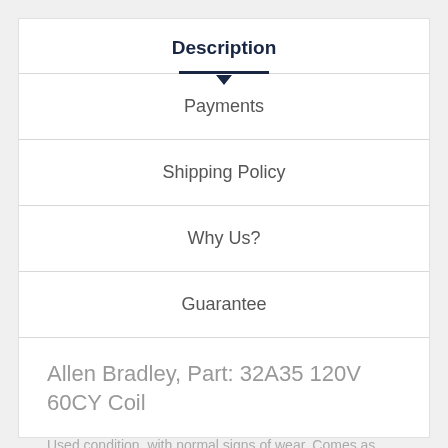Description
Payments
Shipping Policy
Why Us?
Guarantee
Allen Bradley, Part: 32A35 120V 60CY Coil
Used condition, with normal signs of wear. Comes as shown, please check pics.